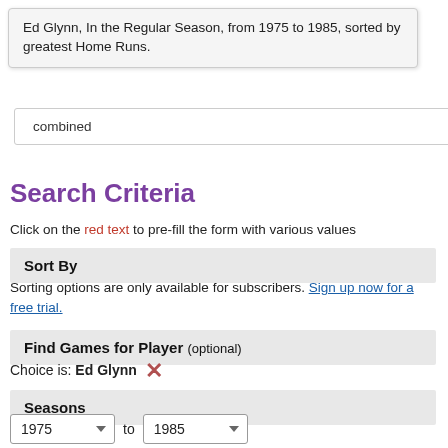Ed Glynn, In the Regular Season, from 1975 to 1985, sorted by greatest Home Runs.
combined
Search Criteria
Click on the red text to pre-fill the form with various values
Sort By
Sorting options are only available for subscribers. Sign up now for a free trial.
Find Games for Player (optional)
Choice is: Ed Glynn ✕
Seasons
1975 to 1985
Any • 1985 • 1984 • 1983 • Wild-Card Era • Divisional Era • Expansion Era • Integration Era • Live-Ball Era •